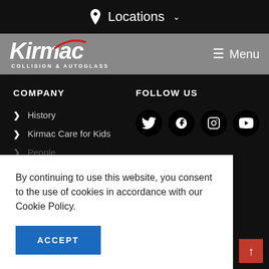📍 Locations ▾
[Figure (logo): Kirmac Collision & Autoglass logo with red swoosh, white italic text on grey background, with Menu hamburger button on right]
COMPANY
> History
> Kirmac Care for Kids
> People
FOLLOW US
[Figure (infographic): Four social media icons: Twitter, Facebook, Instagram, YouTube — white icons on black circular backgrounds]
By continuing to use this website, you consent to the use of cookies in accordance with our Cookie Policy.
ACCEPT